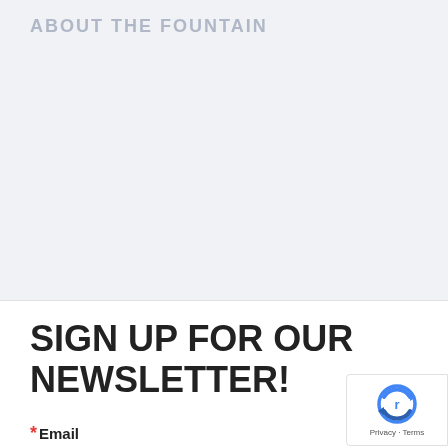ABOUT THE FOUNTAIN
SIGN UP FOR OUR NEWSLETTER!
* Email
[Figure (other): Google reCAPTCHA badge widget showing reCAPTCHA logo with arrows and 'Privacy - Terms' text]